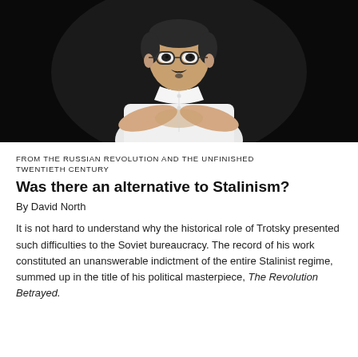[Figure (photo): Black and white photograph of a man with glasses and a small mustache, wearing a white buttoned shirt with arms crossed, against a dark background]
FROM THE RUSSIAN REVOLUTION AND THE UNFINISHED TWENTIETH CENTURY
Was there an alternative to Stalinism?
By David North
It is not hard to understand why the historical role of Trotsky presented such difficulties to the Soviet bureaucracy. The record of his work constituted an unanswerable indictment of the entire Stalinist regime, summed up in the title of his political masterpiece, The Revolution Betrayed.